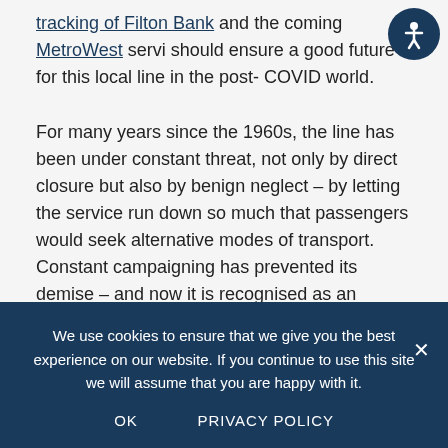tracking of Filton Bank and the coming MetroWest service should ensure a good future for this local line in the post-COVID world.
For many years since the 1960s, the line has been under constant threat, not only by direct closure but also by benign neglect – by letting the service run down so much that passengers would seek alternative modes of transport. Constant campaigning has prevented its demise – and now it is recognised as an important part of the local rail network.
FoSBR continue to campaign for further improvements to
We use cookies to ensure that we give you the best experience on our website. If you continue to use this site we will assume that you are happy with it.
OK
PRIVACY POLICY